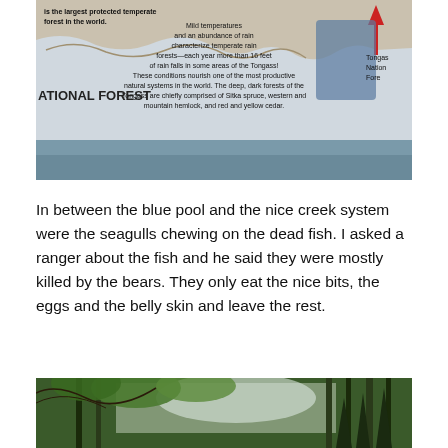[Figure (photo): Informational sign about Tongass National Forest showing a map and text about mild temperatures, rain, and forest composition including Sitka spruce, western and mountain hemlock, and red and yellow cedar. The sign mentions it is the largest protected temperate forest in the world.]
In between the blue pool and the nice creek system were the seagulls chewing on the dead fish. I asked a ranger about the fish and he said they were mostly killed by the bears. They only eat the nice bits, the eggs and the belly skin and leave the rest.
[Figure (photo): Forest scene with tall evergreen trees, leafy branches in the foreground, and mountains visible through the canopy.]